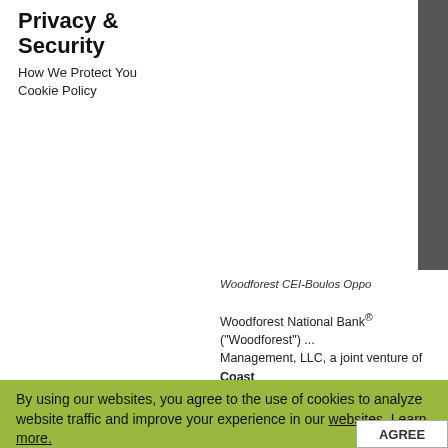Privacy & Security
How We Protect You
Cookie Policy
[Figure (photo): Partial photo of a building or scene, cropped on the right side of the page]
Woodforest CEI-Boulos Oppo
Woodforest National Bank® ("Woodforest") ... Management, LLC, a joint venture of Coast... (CDFI) with a strong track record of meeting... integrated commercial real estate firm with b... estate investment fund is targeting projects ... of promoting economic opportunity benefitti... CEI-Boulos Capital Management is working...
The Fund has adopted the Opportunity Zon...
By using our websites, you agree to the use of cookies to analyze website traffic and improve your experience in our websites. Learn more.